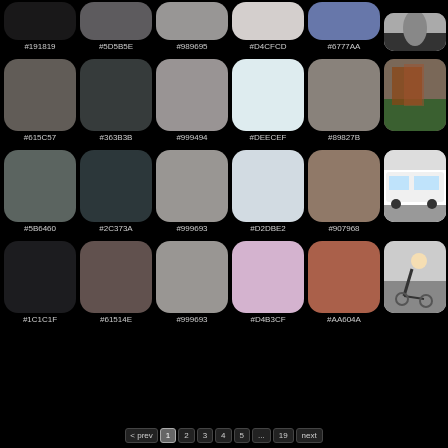[Figure (infographic): Color palette swatches with hex codes. Row 1 (partial): #191819, #5D5B5E, #989695, #D4CFCD, #6777AA plus a photo. Row 2: #615C57, #363B3B, #999494, #DEECEF, #89827B plus a photo. Row 3: #5B6460, #2C373A, #999693, #D2DBE2, #907968 plus a photo. Row 4: #1C1C1F, #61514E, #999693, #D4B3CF, #AA604A plus a photo.]
Pagination: < prev | 1 | 2 | 3 | 4 | 5 | ... | 19 | next